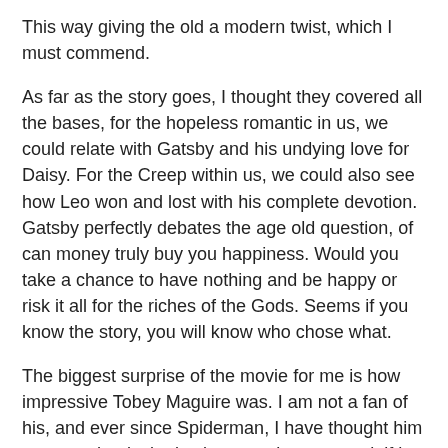This way giving the old a modern twist, which I must commend.
As far as the story goes, I thought they covered all the bases, for the hopeless romantic in us, we could relate with Gatsby and his undying love for Daisy. For the Creep within us, we could also see how Leo won and lost with his complete devotion. Gatsby perfectly debates the age old question, of can money truly buy you happiness. Would you take a chance to have nothing and be happy or risk it all for the riches of the Gods. Seems if you know the story, you will know who chose what.
The biggest surprise of the movie for me is how impressive Tobey Maguire was. I am not a fan of his, and ever since Spiderman, I have thought him an actor that lacked substance, but my word, if he didn't prove me wrong in this one. This could be the role to bring him back. On top of this, I don't see Leo getting an Oscar for his performance, even though he is good as ever, but Tobey steals the show and I wouldn't be surprised if he is nominated for his role.